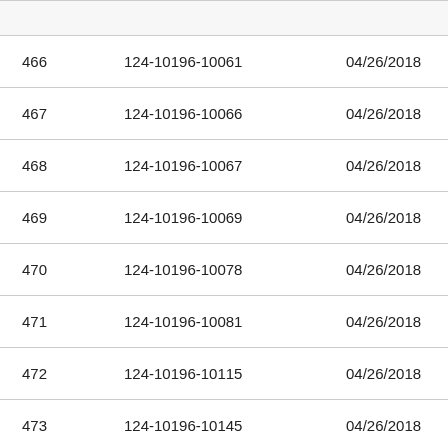| # | Document ID | Date | Status |
| --- | --- | --- | --- |
| 466 | 124-10196-10061 | 04/26/2018 | Reda |
| 467 | 124-10196-10066 | 04/26/2018 | Reda |
| 468 | 124-10196-10067 | 04/26/2018 | Reda |
| 469 | 124-10196-10069 | 04/26/2018 | Reda |
| 470 | 124-10196-10078 | 04/26/2018 | Reda |
| 471 | 124-10196-10081 | 04/26/2018 | Reda |
| 472 | 124-10196-10115 | 04/26/2018 | Reda |
| 473 | 124-10196-10145 | 04/26/2018 | Reda |